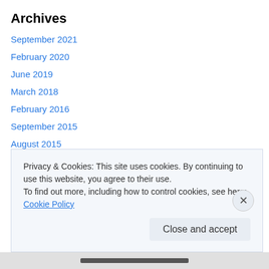Archives
September 2021
February 2020
June 2019
March 2018
February 2016
September 2015
August 2015
February 2015
August 2014
May 2014
March 2014
Privacy & Cookies: This site uses cookies. By continuing to use this website, you agree to their use.
To find out more, including how to control cookies, see here: Cookie Policy
Close and accept